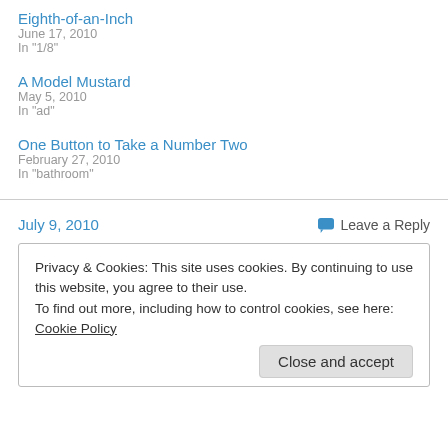Eighth-of-an-Inch
June 17, 2010
In "1/8"
A Model Mustard
May 5, 2010
In "ad"
One Button to Take a Number Two
February 27, 2010
In "bathroom"
July 9, 2010
Leave a Reply
Privacy & Cookies: This site uses cookies. By continuing to use this website, you agree to their use.
To find out more, including how to control cookies, see here: Cookie Policy
Close and accept